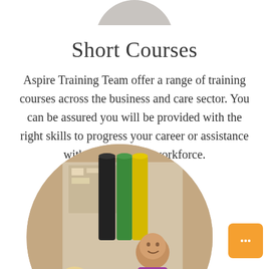[Figure (photo): Partial circular cropped photo at top of page, mostly cut off]
Short Courses
Aspire Training Team offer a range of training courses across the business and care sector. You can be assured you will be provided with the right skills to progress your career or assistance with training your workforce.
[Figure (photo): Circular cropped photo of a man smiling and a child, with rolls of coloured material (black, green, yellow) being held up, set in what appears to be a classroom or workshop environment]